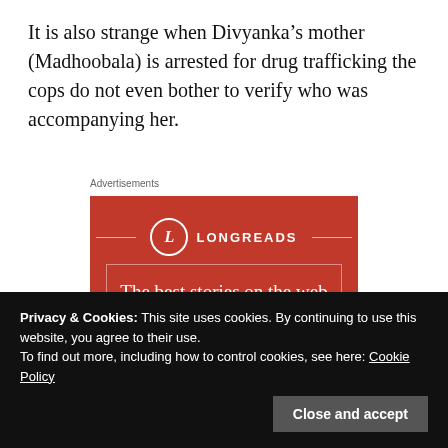It is also strange when Divyanka's mother (Madhoobala) is arrested for drug trafficking the cops do not even bother to verify who was accompanying her.
Advertisements
[Figure (other): Longreads advertisement banner with red background. Logo circle with 'L' and text 'LONGREADS'. Tagline reads: 'The best stories on the web – ours, and everyone else's.']
Privacy & Cookies: This site uses cookies. By continuing to use this website, you agree to their use.
To find out more, including how to control cookies, see here: Cookie Policy